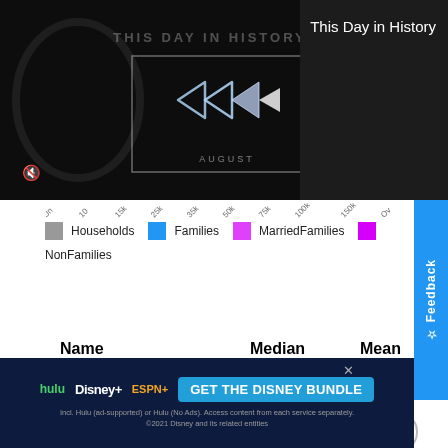[Figure (screenshot): Video player screenshot showing 'This Day in History' NFL-themed video with play button, mute icon, and AUGUST label. Dark background with NFL shield logo visible.]
This Day in History
[Figure (infographic): X-axis income range labels: Un, 10, 15k, 25k, 35k, 50k, 75k, 100k, 150k, Ov]
Households  Families  MarriedFamilies  NonFamilies
| Name | Median | Mean |
| --- | --- | --- |
| Households | $123,438 | $147,981 |
[Figure (screenshot): Advertisement bar: GET THE DISNEY BUNDLE with hulu, Disney+, ESPN+ logos. Incl. Hulu (ad-supported) or Hulu (No Ads). Access content from each service separately. ©2021 Disney and its related entities]